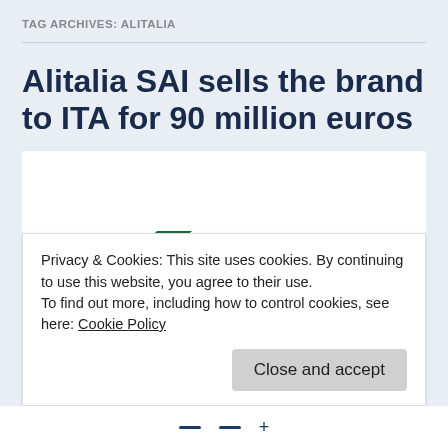TAG ARCHIVES: ALITALIA
Alitalia SAI sells the brand to ITA for 90 million euros
[Figure (logo): Alitalia airline logo showing a green stylized wing/arrow shape with partial text logo visible]
Privacy & Cookies: This site uses cookies. By continuing to use this website, you agree to their use.
To find out more, including how to control cookies, see here: Cookie Policy
Close and accept